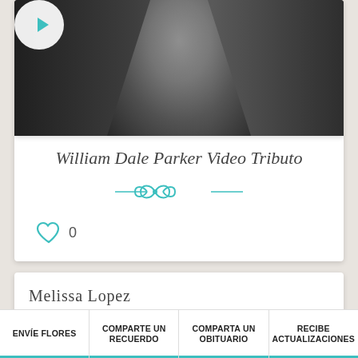[Figure (screenshot): Video thumbnail showing a person in dark clothing with a white circular play button overlay on a dark background]
William Dale Parker Video Tributo
[Figure (illustration): Teal decorative divider with swirl/infinity ornament]
0 (heart/like icon)
Melissa Lopez
Amigo
ENVÍE FLORES | COMPARTE UN RECUERDO | COMPARTA UN OBITUARIO | RECIBE ACTUALIZACIONES